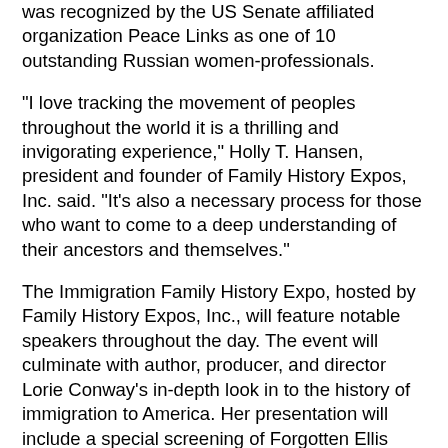was recognized by the US Senate affiliated organization Peace Links as one of 10 outstanding Russian women-professionals.
"I love tracking the movement of peoples throughout the world it is a thrilling and invigorating experience," Holly T. Hansen, president and founder of Family History Expos, Inc. said. "It's also a necessary process for those who want to come to a deep understanding of their ancestors and themselves."
The Immigration Family History Expo, hosted by Family History Expos, Inc., will feature notable speakers throughout the day. The event will culminate with author, producer, and director Lorie Conway's in-depth look in to the history of immigration to America. Her presentation will include a special screening of Forgotten Ellis Island: The Extraordinary Story of America's Immigrant Hospital.
Lorie Conway is author, producer and director of the moving documentary, "Forgotten Ellis Island: The Extraordinary Story of America's Immigrant Hospital." Conway has been